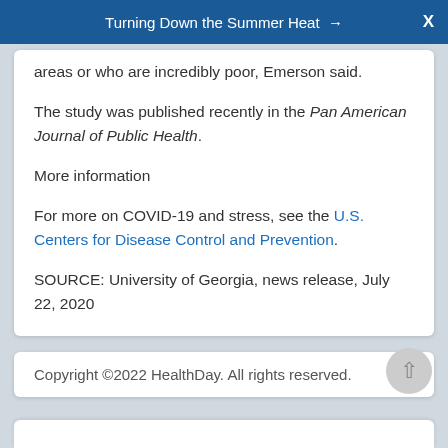Turning Down the Summer Heat →  X
areas or who are incredibly poor, Emerson said.
The study was published recently in the Pan American Journal of Public Health.
More information
For more on COVID-19 and stress, see the U.S. Centers for Disease Control and Prevention.
SOURCE: University of Georgia, news release, July 22, 2020
Copyright ©2022 HealthDay. All rights reserved.